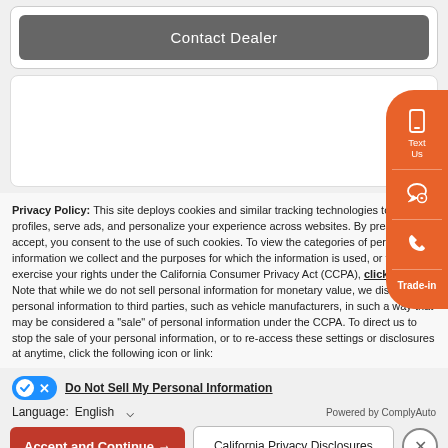[Figure (screenshot): Contact Dealer button in a gray rounded rectangle]
[Figure (screenshot): White empty box area]
Privacy Policy: This site deploys cookies and similar tracking technologies to build profiles, serve ads, and personalize your experience across websites. By pressing accept, you consent to the use of such cookies. To view the categories of personal information we collect and the purposes for which the information is used, or to exercise your rights under the California Consumer Privacy Act (CCPA), click here. Note that while we do not sell personal information for monetary value, we disclose personal information to third parties, such as vehicle manufacturers, in such a way that may be considered a "sale" of personal information under the CCPA. To direct us to stop the sale of your personal information, or to re-access these settings or disclosures at anytime, click the following icon or link:
Do Not Sell My Personal Information
Language: English  Powered by ComplyAuto
Accept and Continue →  California Privacy Disclosures
[Figure (screenshot): Orange floating sidebar with Text Us, chat, phone call, and Trade-in buttons]